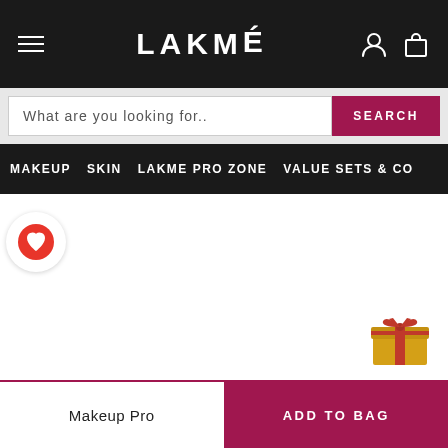LAKMÉ
What are you looking for..
SEARCH
MAKEUP  SKIN  LAKME PRO ZONE  VALUE SETS & CO
[Figure (illustration): Wishlist heart button - red circle with white heart icon]
[Figure (illustration): Gift box emoji icon - gold gift box with red ribbon and bow]
Makeup Pro
ADD TO BAG